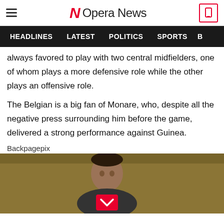Opera News
HEADLINES  LATEST  POLITICS  SPORTS
always favored to play with two central midfielders, one of whom plays a more defensive role while the other plays an offensive role.
The Belgian is a big fan of Monare, who, despite all the negative press surrounding him before the game, delivered a strong performance against Guinea.
Backpagepix
[Figure (photo): Photo of a person (footballer) against a golden/dark yellow background, with a red play/chevron button overlay]